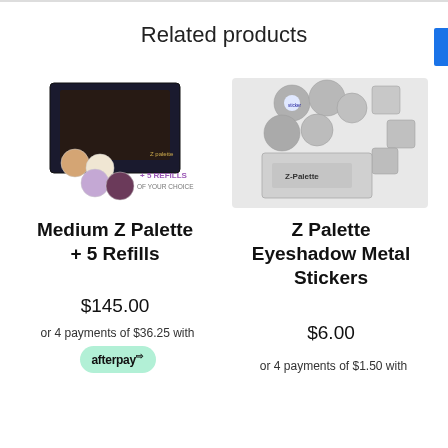Related products
[Figure (photo): Medium Z Palette with 5 eyeshadow refill pans of various colors (peach, lavender, dark purple/red) next to a black palette, with text '+ 5 REFILLS OF YOUR CHOICE']
Medium Z Palette + 5 Refills
$145.00
or 4 payments of $36.25 with afterpay
[Figure (photo): Z Palette Eyeshadow Metal Stickers — various round and square metal stickers/pans scattered, with a Z Palette branded bag]
Z Palette Eyeshadow Metal Stickers
$6.00
or 4 payments of $1.50 with